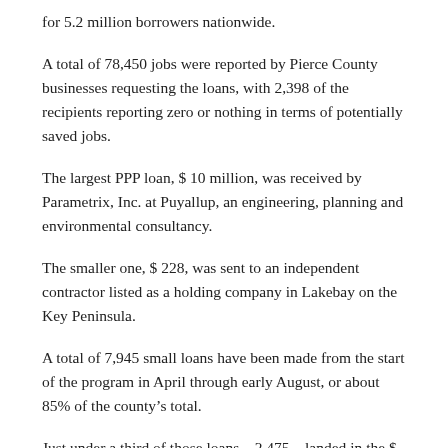for 5.2 million borrowers nationwide.
A total of 78,450 jobs were reported by Pierce County businesses requesting the loans, with 2,398 of the recipients reporting zero or nothing in terms of potentially saved jobs.
The largest PPP loan, $ 10 million, was received by Parametrix, Inc. at Puyallup, an engineering, planning and environmental consultancy.
The smaller one, $ 228, was sent to an independent contractor listed as a holding company in Lakebay on the Key Peninsula.
A total of 7,945 small loans have been made from the start of the program in April through early August, or about 85% of the county’s total.
Just under a third of those loans – 2,475 – landed in the $ 10,000 to $ 25,000 range.
Over 1,600 loans were between $ 25,000 and $ 50,000 and 1,475 between $ 50,000 and $ 100,000. Another 1,700 fell below the $